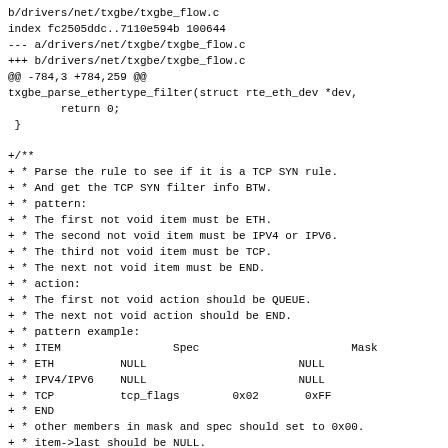b/drivers/net/txgbe/txgbe_flow.c
index fc2505ddc..7110e594b 100644
--- a/drivers/net/txgbe/txgbe_flow.c
+++ b/drivers/net/txgbe/txgbe_flow.c
@@ -784,3 +784,259 @@
txgbe_parse_ethertype_filter(struct rte_eth_dev *dev,
        return 0;
 }

+/**
+ * Parse the rule to see if it is a TCP SYN rule.
+ * And get the TCP SYN filter info BTW.
+ * pattern:
+ * The first not void item must be ETH.
+ * The second not void item must be IPV4 or IPV6.
+ * The third not void item must be TCP.
+ * The next not void item must be END.
+ * action:
+ * The first not void action should be QUEUE.
+ * The next not void action should be END.
+ * pattern example:
+ * ITEM                 Spec                       Mask
+ * ETH          NULL                       NULL
+ * IPV4/IPV6    NULL                       NULL
+ * TCP          tcp_flags        0x02       0xFF
+ * END
+ * other members in mask and spec should set to 0x00.
+ * item->last should be NULL.
+ */
+static int